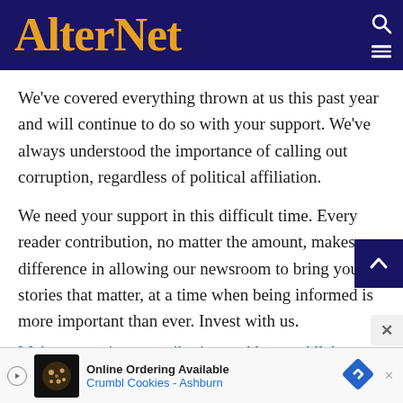AlterNet
We've covered everything thrown at us this past year and will continue to do so with your support. We've always understood the importance of calling out corruption, regardless of political affiliation.
We need your support in this difficult time. Every reader contribution, no matter the amount, makes a difference in allowing our newsroom to bring you stories that matter, at a time when being informed is more important than ever. Invest with us.
Make a one-time contribution to Alternet All Access
[Figure (screenshot): Advertisement banner: Online Ordering Available - Crumbl Cookies - Ashburn]